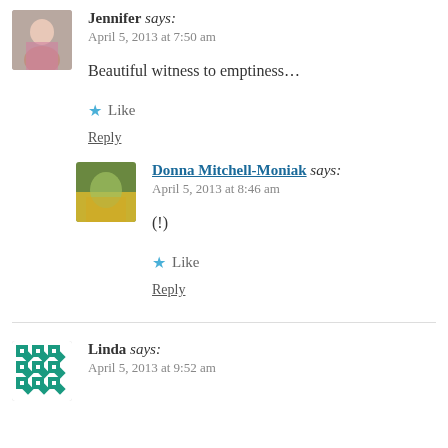Jennifer says:
April 5, 2013 at 7:50 am
Beautiful witness to emptiness…
Like
Reply
Donna Mitchell-Moniak says:
April 5, 2013 at 8:46 am
(!)
Like
Reply
Linda says:
April 5, 2013 at 9:52 am